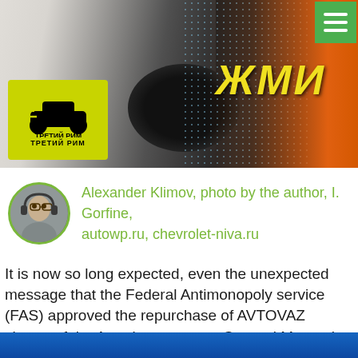[Figure (photo): Banner image showing a person in white shirt with arms outstretched toward car controls, a woman in orange dress on the right, dot pattern background, yellow Cyrillic text 'ЖМИ', green logo box with car icon and 'ТРЕТИЙ РИМ' text, green hamburger menu button top right]
Alexander Klimov, photo by the author, I. Gorfine, autowp.ru, chevrolet-niva.ru
It is now so long expected, even the unexpected message that the Federal Antimonopoly service (FAS) approved the repurchase of AVTOVAZ shares of the American concern General Motors in their joint venture, GM-AVTOVAZ in Togliatti.